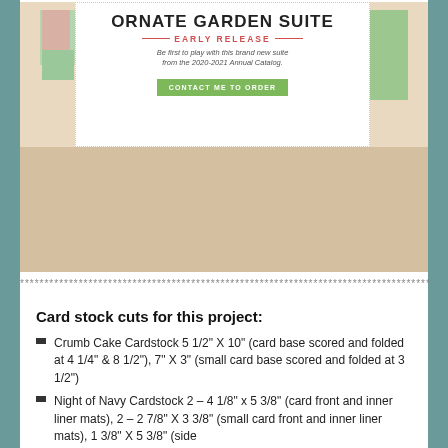[Figure (photo): Ornate Garden Suite Early Release promotional banner with craft cards, coral ribbon, stamp, and floral patterned cards. Contains header text 'ORNATE GARDEN SUITE', subtext 'EARLY RELEASE', italic description, and green 'CONTACT ME TO ORDER' button. Stampin' Up! logo visible bottom left.]
************************************************************************************
Card stock cuts for this project:
Crumb Cake Cardstock 5 1/2" X 10" (card base scored and folded at 4 1/4" & 8 1/2"), 7" X 3" (small card base scored and folded at 3 1/2")
Night of Navy Cardstock 2 – 4 1/8" x 5 3/8" (card front and inner liner mats), 2 – 2 7/8" X 3 3/8" (small card front and inner liner mats), 1 3/8" X 5 3/8" (side ...